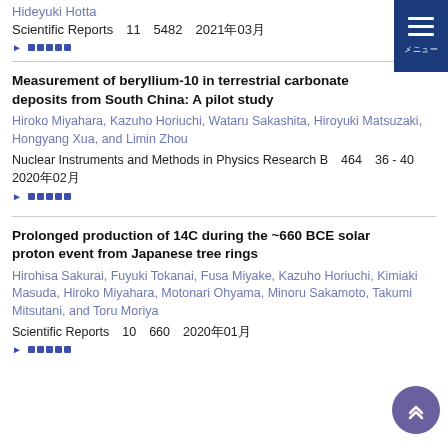Hideyuki Hotta
Scientific Reports  11  5482  2021年03月
▶ 詳細表示
Measurement of beryllium-10 in terrestrial carbonate deposits from South China: A pilot study
Hiroko Miyahara, Kazuho Horiuchi, Wataru Sakashita, Hiroyuki Matsuzaki, Hongyang Xua, and Limin Zhou
Nuclear Instruments and Methods in Physics Research B  464  36 - 40  2020年02月
▶ 詳細表示
Prolonged production of 14C during the ~660 BCE solar proton event from Japanese tree rings
Hirohisa Sakurai, Fuyuki Tokanai, Fusa Miyake, Kazuho Horiuchi, Kimiaki Masuda, Hiroko Miyahara, Motonari Ohyama, Minoru Sakamoto, Takumi Mitsutani, and Toru Moriya
Scientific Reports  10  660  2020年01月
▶ 詳細表示